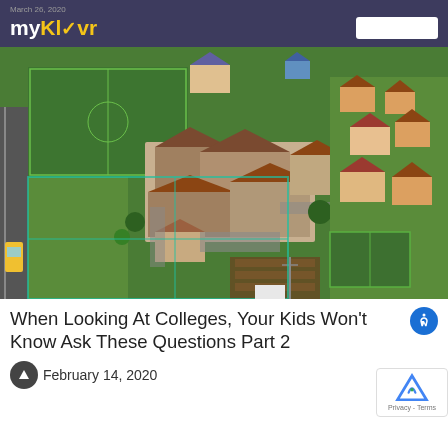March 26, 2020
[Figure (logo): myKlovr logo in white and yellow on dark purple background]
[Figure (photo): Aerial drone photograph of a school campus surrounded by green fields, residential area, sports fields, and trees]
When Looking At Colleges, Your Kids Won't Know Ask These Questions Part 2
February 14, 2020